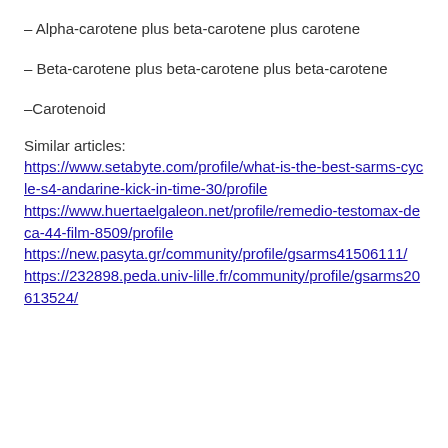– Alpha-carotene plus beta-carotene plus carotene
– Beta-carotene plus beta-carotene plus beta-carotene
–Carotenoid
Similar articles:
https://www.setabyte.com/profile/what-is-the-best-sarms-cycle-s4-andarine-kick-in-time-30/profile https://www.huertaelgaleon.net/profile/remedio-testomax-deca-44-film-8509/profile https://new.pasyta.gr/community/profile/gsarms41506111/ https://232898.peda.univ-lille.fr/community/profile/gsarms20613524/